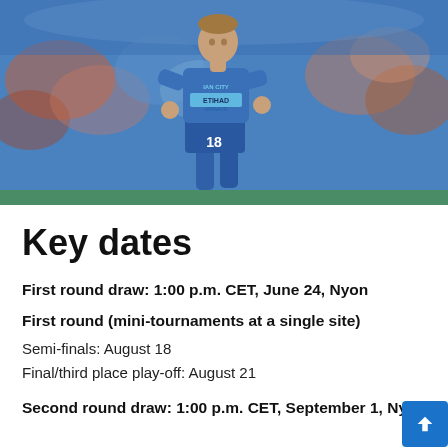[Figure (photo): A Manchester City women's football player wearing a blue kit with number 18, running on a pitch, with a blurred crowd in the background.]
Key dates
First round draw: 1:00 p.m. CET, June 24, Nyon
First round (mini-tournaments at a single site)
Semi-finals: August 18
Final/third place play-off: August 21
Second round draw: 1:00 p.m. CET, September 1, Nyon